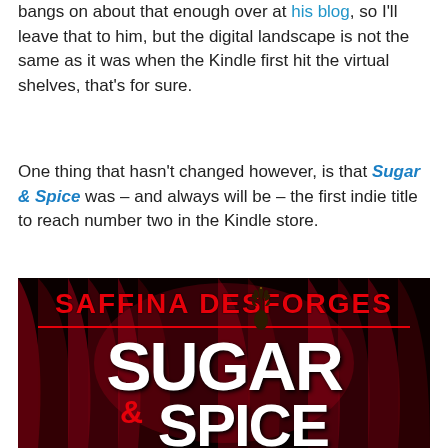bangs on about that enough over at his blog, so I'll leave that to him, but the digital landscape is not the same as it was when the Kindle first hit the virtual shelves, that's for sure.
One thing that hasn't changed however, is that Sugar & Spice was – and always will be – the first indie title to reach number two in the Kindle store.
[Figure (illustration): Book cover for 'Sugar & Spice' by Saffina Desforges. Dark/black background with red curtain drapes. Author name 'SAFFINA DESFORGES' in red at top. Large white bold letters spell 'SUGAR' with a hand silhouette inside the letter A, and '& SPICE' below in white. Red and dark dramatic design.]